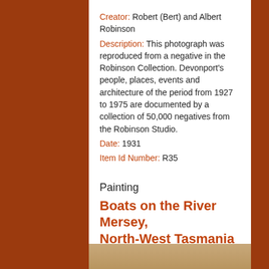Creator: Robert (Bert) and Albert Robinson
Description: This photograph was reproduced from a negative in the Robinson Collection. Devonport's people, places, events and architecture of the period from 1927 to 1975 are documented by a collection of 50,000 negatives from the Robinson Studio.
Date: 1931
Item Id Number: R35
Painting
Boats on the River Mersey, North-West Tasmania
[Figure (photo): Partial view of a photograph strip at the bottom of the page, showing a sepia/warm-toned image.]